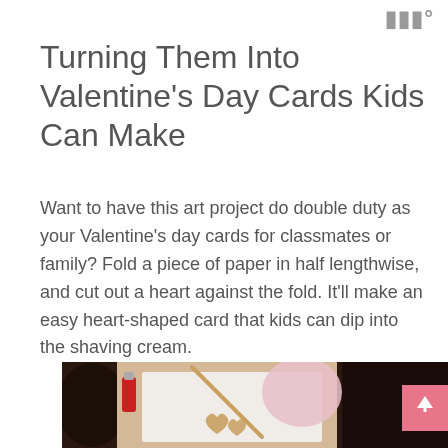|||°
Turning Them Into Valentine's Day Cards Kids Can Make
Want to have this art project do double duty as your Valentine's day cards for classmates or family? Fold a piece of paper in half lengthwise, and cut out a heart against the fold. It'll make an easy heart-shaped card that kids can dip into the shaving cream.
[Figure (photo): Photo of a child's hands working on a Valentine's Day craft project at a table, with heart-shaped cards, a red tube, and a dark bowl visible. A pink marbled heart shape is visible in the background.]